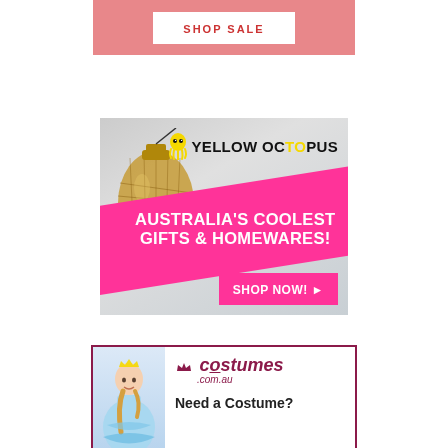[Figure (infographic): Pink/salmon colored ad banner with white 'SHOP SALE' button]
[Figure (infographic): Yellow Octopus ad banner: Australia's Coolest Gifts & Homewares, with gold hanging bulb, pink diagonal banner, SHOP NOW button]
[Figure (infographic): Costumes.com.au ad: girl in Frozen costume on left, costumes.com.au logo and 'Need a Costume?' text on right]